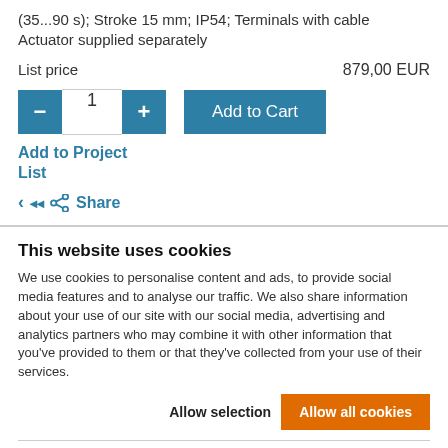(35...90 s); Stroke 15 mm; IP54; Terminals with cable Actuator supplied separately
List price   879,00 EUR
[Figure (screenshot): Quantity selector widget with minus button, input field showing 1, and plus button, all in teal/blue color]
Add to Cart
Add to Project List
Share
This website uses cookies
We use cookies to personalise content and ads, to provide social media features and to analyse our traffic. We also share information about your use of our site with our social media, advertising and analytics partners who may combine it with other information that you've provided to them or that they've collected from your use of their services.
Allow selection   Allow all cookies
Necessary   Preferences   Statistics   Marketing   Show details